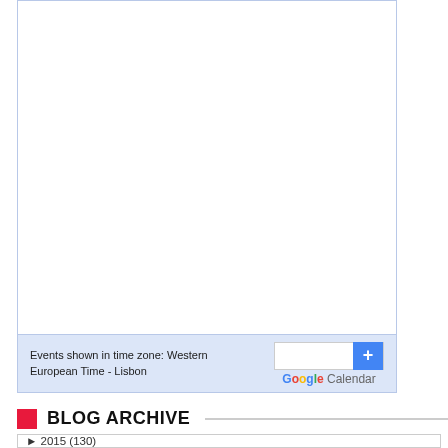[Figure (screenshot): Google Calendar embedded widget showing a mostly blank calendar area with a light blue border]
Events shown in time zone: Western European Time - Lisbon
[Figure (logo): Google Calendar logo with plus button]
BLOG ARCHIVE
▸ 2015 (130)